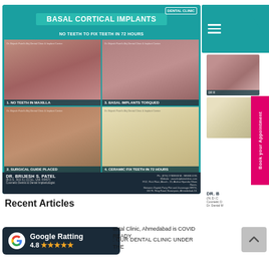[Figure (photo): Basal Cortical Implants promotional image showing 4 clinical photos: 1. No Teeth in Maxilla, 2. Surgical Guide Placed, 3. Basal Implants Torqued, 4. Ceramic Fix Teeth in 72 Hours. By Dr. Brijesh S. Patel, with clinic contact info at bottom.]
[Figure (screenshot): Right sidebar showing dental clinic website navigation and appointment booking button]
Recent Articles
[Figure (infographic): Google Rating badge showing 4.8 stars with 5 star icons on dark background]
ental Clinic, Ahmedabad is COVID READY
OUR DENTAL CLINIC UNDER THE